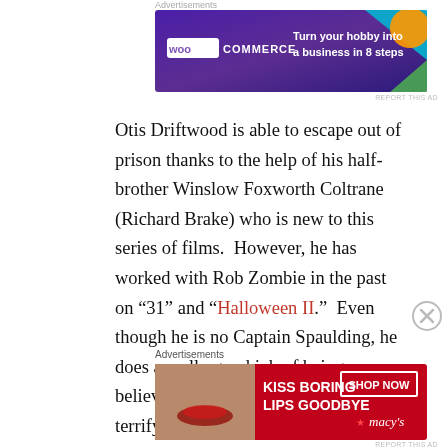[Figure (screenshot): WooCommerce advertisement banner: purple gradient background with WooCommerce logo on left and tagline 'Turn your hobby into a business in 8 steps' on right, with colorful geometric shapes in top right corner.]
Otis Driftwood is able to escape out of prison thanks to the help of his half-brother Winslow Foxworth Coltrane (Richard Brake) who is new to this series of films.  However, he has worked with Rob Zombie in the past on “31” and “Halloween II.”  Even though he is no Captain Spaulding, he does a really good job of being a believable brother to Otis and a terrifying force.  Now that Otis and his brother are running around free, they need to find a way
[Figure (screenshot): Macy's advertisement banner: red background with text 'KISS BORING LIPS GOODBYE', a model's lips/face, a 'SHOP NOW' button, and Macy's star logo.]